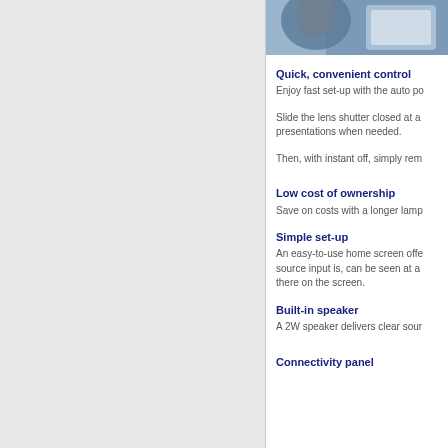[Figure (photo): Photo of person using a laptop/tablet device, partial view]
Quick, convenient control
Enjoy fast set-up with the auto po
Slide the lens shutter closed at a presentations when needed.
Then, with instant off, simply rem
Low cost of ownership
Save on costs with a longer lamp
Simple set-up
An easy-to-use home screen offe source input is, can be seen at a there on the screen.
Built-in speaker
A 2W speaker delivers clear sour
Connectivity panel